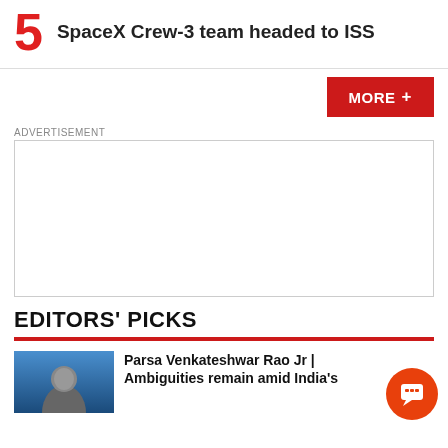5  SpaceX Crew-3 team headed to ISS
MORE +
ADVERTISEMENT
[Figure (other): Empty advertisement placeholder box]
EDITORS' PICKS
Parsa Venkateshwar Rao Jr | Ambiguities remain amid India's